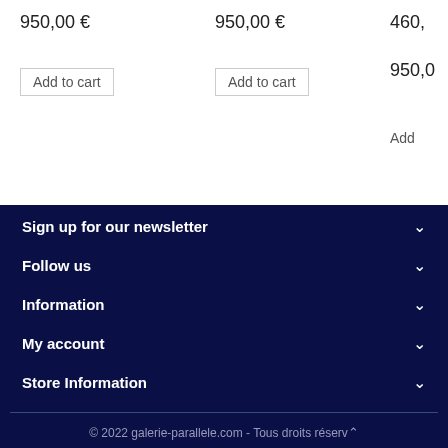950,00 €
950,00 €
460,
Add to cart
Add to cart
950,0
Add
Sign up for our newsletter
Follow us
Information
My account
Store Information
© 2022 galerie-parallele.com - Tous droits réservé